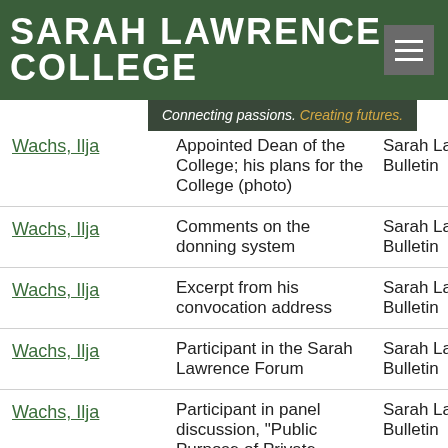SARAH LAWRENCE COLLEGE
Connecting passions. Creating futures.
| Name | Description | Publication |
| --- | --- | --- |
| Wachs, Ilja | Appointed Dean of the College; his plans for the College (photo) | Sarah Lawrence Bulletin |
| Wachs, Ilja | Comments on the donning system | Sarah Lawrence Bulletin |
| Wachs, Ilja | Excerpt from his convocation address | Sarah Lawrence Bulletin |
| Wachs, Ilja | Participant in the Sarah Lawrence Forum | Sarah Lawrence Bulletin |
| Wachs, Ilja | Participant in panel discussion, "Public Purpose of Private…" | Sarah Lawrence Bulletin |